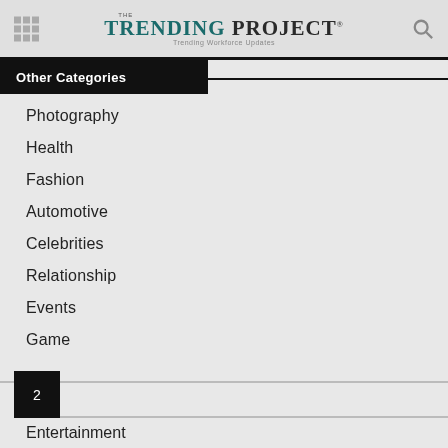The Trending Project — Trending Workforce Updates
Other Categories
Photography
Health
Fashion
Automotive
Celebrities
Relationship
Events
Game
Entertainment